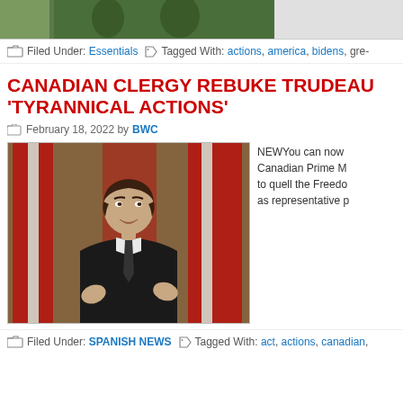[Figure (photo): Partial top image bar showing green-themed photo, cropped]
Filed Under: Essentials  Tagged With: actions, america, bidens, gre-
CANADIAN CLERGY REBUKE TRUDEAU 'TYRANNICAL ACTIONS'
February 18, 2022 by BWC
[Figure (photo): Photo of Canadian Prime Minister Justin Trudeau speaking at a podium with Canadian flags in background]
NEWYou can now Canadian Prime M to quell the Freedo as representative p
Filed Under: SPANISH NEWS  Tagged With: act, actions, canadian,